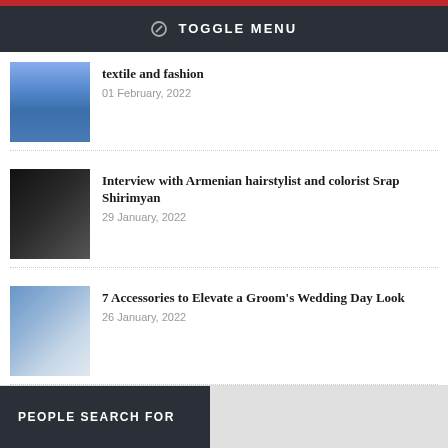TOGGLE MENU
textile and fashion
01 February, 2022
Interview with Armenian hairstylist and colorist Srap Shirimyan
29 January, 2022
7 Accessories to Elevate a Groom's Wedding Day Look
26 January, 2022
PEOPLE SEARCH FOR